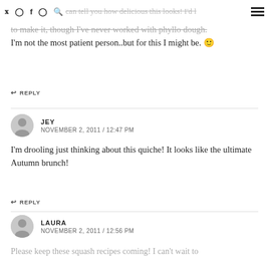social media icons and partial text: can tell you how delicious this looks! I'd l
to make it, though I've never worked with phyllo dough. I'm not the most patient person..but for this I might be. 🙂
↩ REPLY
JEY
NOVEMBER 2, 2011 / 12:47 PM
I'm drooling just thinking about this quiche! It looks like the ultimate Autumn brunch!
↩ REPLY
LAURA
NOVEMBER 2, 2011 / 12:56 PM
Please keep these squash recipes coming! I can't wait to